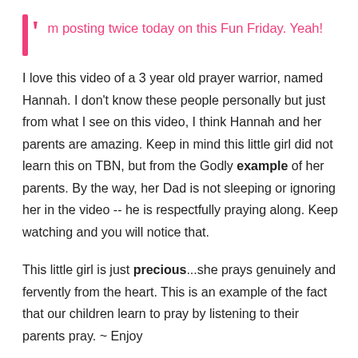I'm posting twice today on this Fun Friday.  Yeah!
I love this video of a 3 year old prayer warrior, named Hannah.  I don't know these people personally but just from what I see on this video, I think Hannah and her parents are amazing.  Keep in mind this little girl did not learn this on TBN, but from the Godly example of her parents.  By the way, her Dad is not sleeping or ignoring her in the video -- he is respectfully praying along.  Keep watching and you will notice that.
This little girl is just precious...she prays genuinely and fervently from the heart.  This is an example of the fact that our children learn to pray by listening to their parents pray.   ~ Enjoy